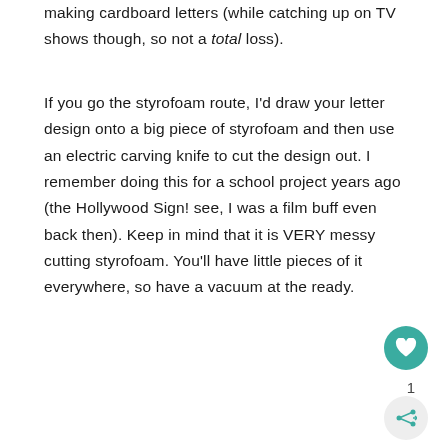making cardboard letters (while catching up on TV shows though, so not a total loss).
If you go the styrofoam route, I'd draw your letter design onto a big piece of styrofoam and then use an electric carving knife to cut the design out. I remember doing this for a school project years ago (the Hollywood Sign! see, I was a film buff even back then). Keep in mind that it is VERY messy cutting styrofoam. You'll have little pieces of it everywhere, so have a vacuum at the ready.